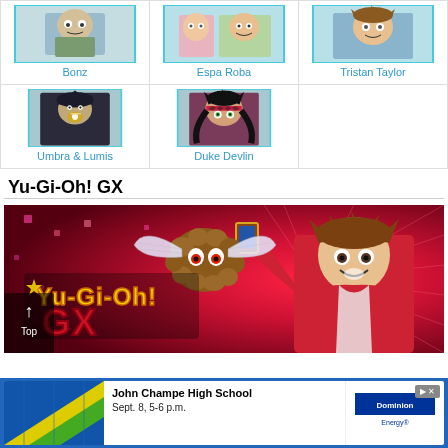| Bonz | Espa Roba | Tristan Taylor |
| --- | --- | --- |
| Umbra & Lumis | Duke Devlin |  |
Yu-Gi-Oh! GX
[Figure (illustration): Yu-Gi-Oh! GX promotional banner image showing Jaden Yuki in a red jacket holding a card, with his Winged Kuriboh companion, against a bright red starburst background with the Yu-Gi-Oh! GX logo]
[Figure (infographic): Advertisement banner for John Champe High School, Sept. 8, 5-6 p.m., with Dominion Energy logo and yellow/green geometric design]